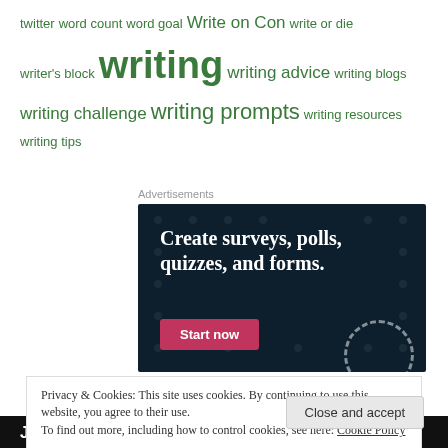twitter word count word goal Write on Con write or die writer's block writing writing advice writing blogs writing challenge writing prompts writing resources writing tips
[Figure (screenshot): Advertisement banner: dark navy background with white text 'Create surveys, polls, quizzes, and forms.' and a pink 'Start now' button]
Privacy & Cookies: This site uses cookies. By continuing to use this website, you agree to their use. To find out more, including how to control cookies, see here: Cookie Policy
Close and accept
JO HART